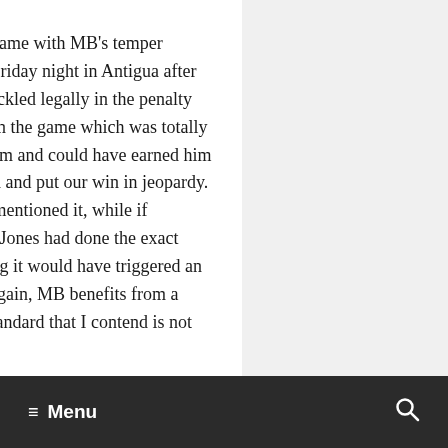And the same with MB's temper tantrum Friday night in Antigua after he was tackled legally in the penalty box late in the game which was totally silly of him and could have earned him a red card and put our win in jeopardy. Nobody mentioned it, while if Jermaine Jones had done the exact same thing it would have triggered an uproar. Again, MB benefits from a double standard that I contend is not only his…but the MB…
≡ Menu   🔍